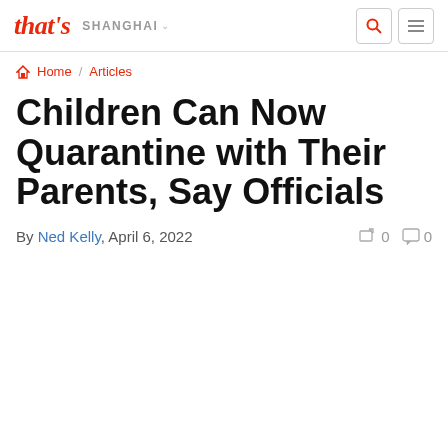that's SHANGHAI
Home / Articles
Children Can Now Quarantine with Their Parents, Say Officials
By Ned Kelly, April 6, 2022  0  0